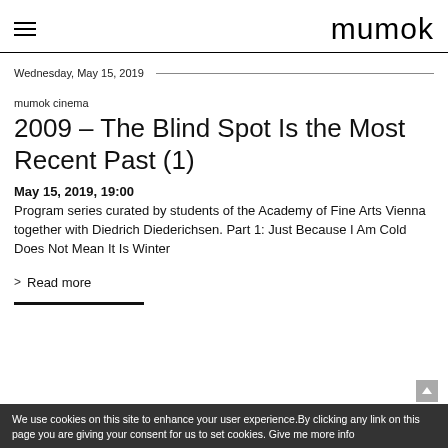mumok
Wednesday, May 15, 2019
mumok cinema
2009 – The Blind Spot Is the Most Recent Past (1)
May 15, 2019, 19:00
Program series curated by students of the Academy of Fine Arts Vienna together with Diedrich Diederichsen. Part 1: Just Because I Am Cold Does Not Mean It Is Winter
> Read more
We use cookies on this site to enhance your user experience.By clicking any link on this page you are giving your consent for us to set cookies. Give me more info